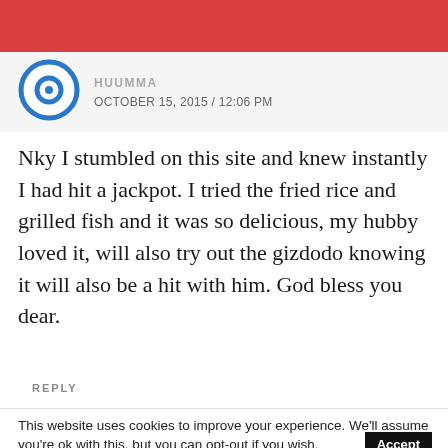HUUMMA
OCTOBER 15, 2015 / 12:06 PM
Nky I stumbled on this site and knew instantly I had hit a jackpot. I tried the fried rice and grilled fish and it was so delicious, my hubby loved it, will also try out the gizdodo knowing it will also be a hit with him. God bless you dear.
REPLY
This website uses cookies to improve your experience. We'll assume you're ok with this, but you can opt-out if you wish.